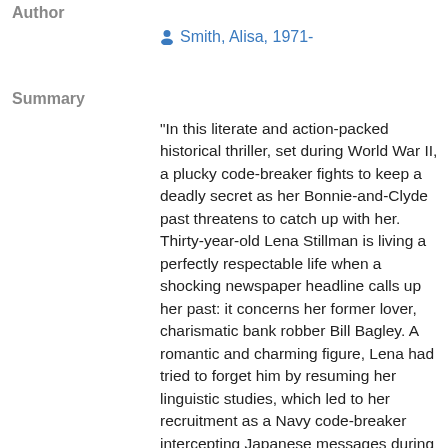Author
Smith, Alisa, 1971-
Summary
"In this literate and action-packed historical thriller, set during World War II, a plucky code-breaker fights to keep a deadly secret as her Bonnie-and-Clyde past threatens to catch up with her. Thirty-year-old Lena Stillman is living a perfectly respectable life when a shocking newspaper headline calls up her past: it concerns her former lover, charismatic bank robber Bill Bagley. A romantic and charming figure, Lena had tried to forget him by resuming her linguistic studies, which led to her recruitment as a Navy code-breaker intercepting Japanese messages during World War II. But can Lena keep her own secrets? Threatening notes and the appearance of an old diary